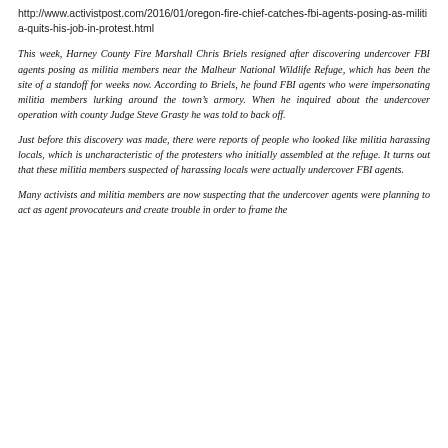http://www.activistpost.com/2016/01/oregon-fire-chief-catches-fbi-agents-posing-as-militia-quits-his-job-in-protest.html
This week, Harney County Fire Marshall Chris Briels resigned after discovering undercover FBI agents posing as militia members near the Malheur National Wildlife Refuge, which has been the site of a standoff for weeks now. According to Briels, he found FBI agents who were impersonating militia members lurking around the town’s armory. When he inquired about the undercover operation with county Judge Steve Grasty he was told to back off.
Just before this discovery was made, there were reports of people who looked like militia harassing locals, which is uncharacteristic of the protesters who initially assembled at the refuge. It turns out that these militia members suspected of harassing locals were actually undercover FBI agents.
Many activists and militia members are now suspecting that the undercover agents were planning to act as agent provocateurs and create trouble in order to frame the